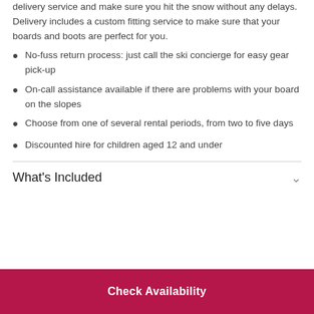delivery service and make sure you hit the snow without any delays. Delivery includes a custom fitting service to make sure that your boards and boots are perfect for you.
No-fuss return process: just call the ski concierge for easy gear pick-up
On-call assistance available if there are problems with your board on the slopes
Choose from one of several rental periods, from two to five days
Discounted hire for children aged 12 and under
What's Included
Check Availability